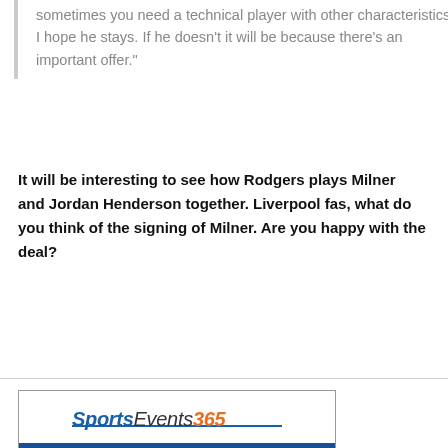sometimes you need a technical player with other characteristics. I hope he stays. If he doesn't it will be because there's an important offer."
It will be interesting to see how Rodgers plays Milner and Jordan Henderson together. Liverpool fas, what do you think of the signing of Milner. Are you happy with the deal?
[Figure (logo): SportsEvents365 advertisement banner with logo on white background above a blue panel showing a soccer player kicking a ball]